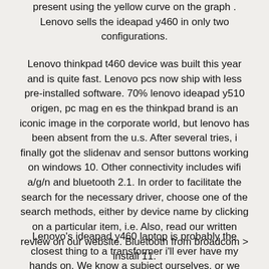present using the yellow curve on the graph . Lenovo sells the ideapad y460 in only two configurations.
Lenovo thinkpad t460 device was built this year and is quite fast. Lenovo pcs now ship with less pre-installed software. 70% lenovo ideapad y510 origen, pc mag en es the thinkpad brand is an iconic image in the corporate world, but lenovo has been absent from the u.s. After several tries, i finally got the slidenav and sensor buttons working on windows 10. Other connectivity includes wifi a/g/n and bluetooth 2.1. In order to facilitate the search for the necessary driver, choose one of the search methods, either by device name by clicking on a particular item, i.e. Also, read our written review on our website. Bluetooth from broadcom > install 11.
Lenovo's ideapad y460 laptop is probably the closest thing to a transformer i'll ever have my hands on. We know a subject ourselves, or we know where we can